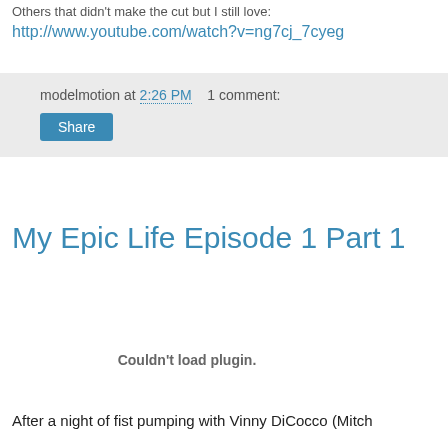Others that didn't make the cut but I still love:
http://www.youtube.com/watch?v=ng7cj_7cyeg
modelmotion at 2:26 PM   1 comment:
Share
My Epic Life Episode 1 Part 1
[Figure (other): Embedded video plugin area showing 'Couldn't load plugin.' message]
After a night of fist pumping with Vinny DiCocco (Mitch McSullivan, Bucky Bonar, Marvin la bongo, and...